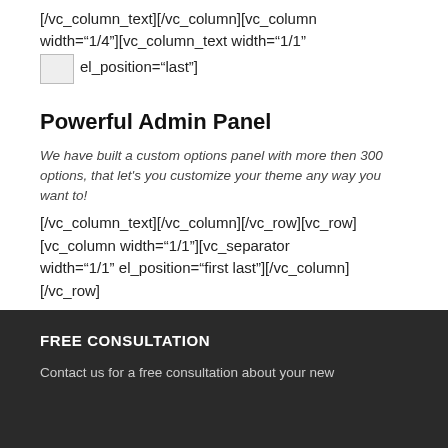[/vc_column_text][/vc_column][vc_column width="1/4"][vc_column_text width="1/1" el_position="last"]
Powerful Admin Panel
We have built a custom options panel with more then 300 options, that let's you customize your theme any way you want to!
[/vc_column_text][/vc_column][/vc_row][vc_row][vc_column width="1/1"][vc_separator width="1/1" el_position="first last"][/vc_column][/vc_row]
FREE CONSULTATION
Contact us for a free consultation about your new